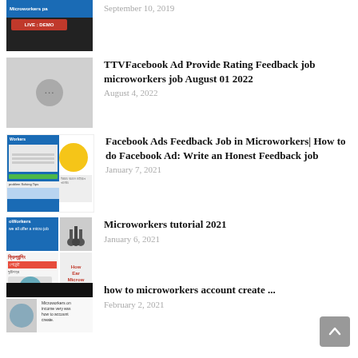September 10, 2019
[Figure (screenshot): Thumbnail for microworkers page video with LIVE DEMO text]
TTVFacebook Ad Provide Rating Feedback job microworkers job August 01 2022
August 4, 2022
[Figure (screenshot): Gray placeholder thumbnail with three dots]
Facebook Ads Feedback Job in Microworkers| How to do Facebook Ad: Write an Honest Feedback job
January 7, 2021
[Figure (screenshot): Multi-image collage thumbnail for Facebook Ads Feedback job]
Microworkers tutorial 2021
January 6, 2021
[Figure (screenshot): Microworkers tutorial 2021 thumbnail collage]
how to microworkers account create ...
February 2, 2021
[Figure (screenshot): Thumbnail for how to microworkers account create]